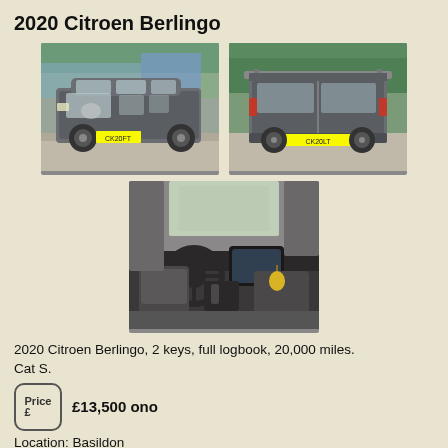2020 Citroen Berlingo
[Figure (photo): Front-side view of a grey 2020 Citroen Berlingo van in a car park]
[Figure (photo): Rear view of a grey 2020 Citroen Berlingo van with yellow UK number plate]
[Figure (photo): Interior view of 2020 Citroen Berlingo showing dashboard, steering wheel and seats]
2020 Citroen Berlingo, 2 keys, full logbook, 20,000 miles. Cat S.
Price: £13,500 ono
Location: Basildon